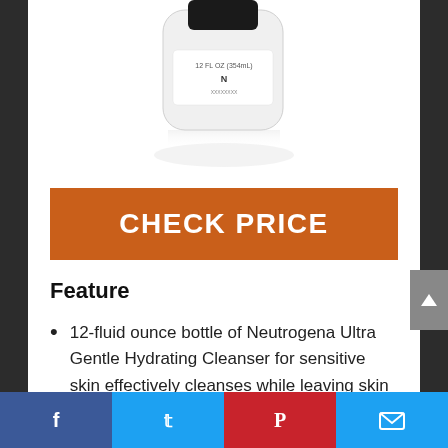[Figure (photo): Partial view of a white Neutrogena Ultra Gentle Hydrating Cleanser bottle, 12 FL OZ (354 mL), cropped at top]
CHECK PRICE
Feature
12-fluid ounce bottle of Neutrogena Ultra Gentle Hydrating Cleanser for sensitive skin effectively cleanses while leaving skin feeling moisturized and naturally soft
Our extraordinarily mild creamy
Facebook Twitter Pinterest Email social share bar